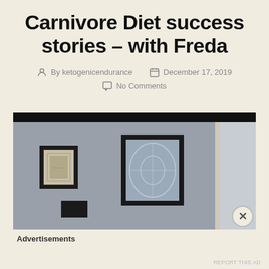Carnivore Diet success stories – with Freda
By ketogenicendurance   December 17, 2019
No Comments
[Figure (photo): A photo of a hallway or room interior showing two framed pictures on a grey wall, a doorway on the right, and a small framed item below. The top of the player/video has a black bar.]
Advertisements